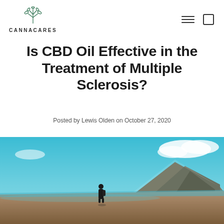CANNACARES
Is CBD Oil Effective in the Treatment of Multiple Sclerosis?
Posted by Lewis Olden on October 27, 2020
[Figure (photo): Person walking on a wide beach with mountains and a dramatic teal sky with clouds in the background]